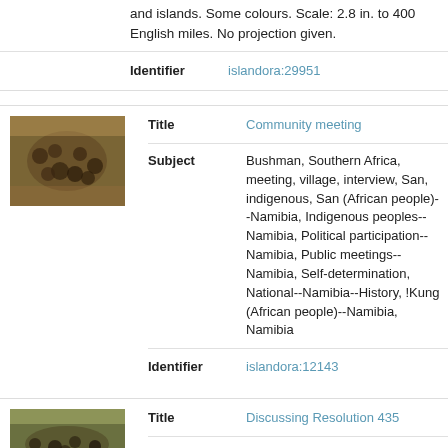and islands. Some colours. Scale: 2.8 in. to 400 English miles. No projection given.
Identifier
islandora:29951
[Figure (photo): Outdoor community meeting scene with people gathered in a circle]
Title
Community meeting
Subject
Bushman, Southern Africa, meeting, village, interview, San, indigenous, San (African people)--Namibia, Indigenous peoples--Namibia, Political participation--Namibia, Public meetings--Namibia, Self-determination, National--Namibia--History, !Kung (African people)--Namibia, Namibia
Identifier
islandora:12143
[Figure (photo): Outdoor gathering scene with people sitting]
Title
Discussing Resolution 435
Subject
Bushman, Southern Africa, meeting